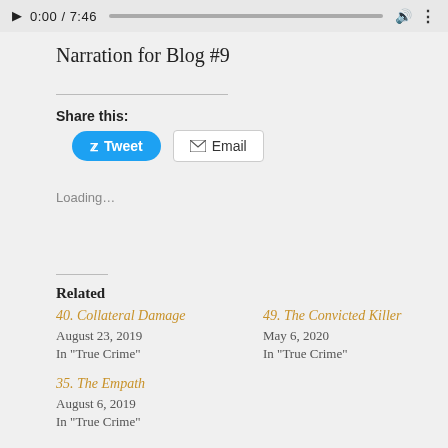[Figure (screenshot): Audio player bar showing play button, timestamp 0:00 / 7:46, progress bar, volume icon, and options dots]
Narration for Blog #9
Share this:
[Figure (infographic): Tweet button (blue, rounded) and Email button (white, bordered)]
Loading...
Related
40. Collateral Damage
August 23, 2019
In "True Crime"
49. The Convicted Killer
May 6, 2020
In "True Crime"
35. The Empath
August 6, 2019
In "True Crime"